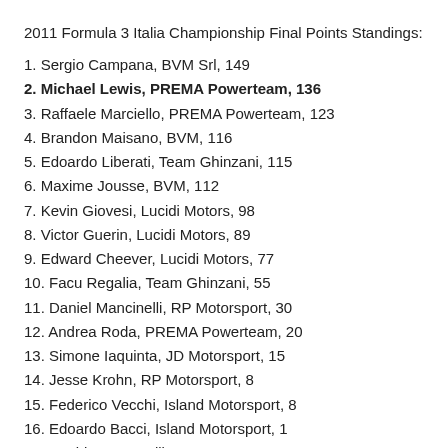2011 Formula 3 Italia Championship Final Points Standings:
1. Sergio Campana, BVM Srl, 149
2. Michael Lewis, PREMA Powerteam, 136
3. Raffaele Marciello, PREMA Powerteam, 123
4. Brandon Maisano, BVM, 116
5. Edoardo Liberati, Team Ghinzani, 115
6. Maxime Jousse, BVM, 112
7. Kevin Giovesi, Lucidi Motors, 98
8. Victor Guerin, Lucidi Motors, 89
9. Edward Cheever, Lucidi Motors, 77
10. Facu Regalia, Team Ghinzani, 55
11. Daniel Mancinelli, RP Motorsport, 30
12. Andrea Roda, PREMA Powerteam, 20
13. Simone Iaquinta, JD Motorsport, 15
14. Jesse Krohn, RP Motorsport, 8
15. Federico Vecchi, Island Motorsport, 8
16. Edoardo Bacci, Island Motorsport, 1
16. Davide Fumanelli, RP Motorsport, 1